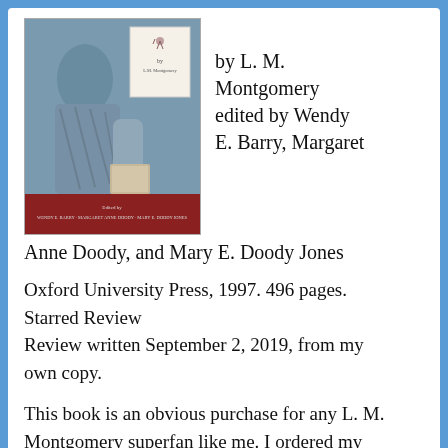[Figure (illustration): Book cover illustration showing a figure in period clothing, with title area and editor credits: Edited by Wendy E. Barry, Margaret Anne Doody, Mary E. Doody Jones, and 'by L.M. Montgomery' text]
by L. M. Montgomery edited by Wendy E. Barry, Margaret Anne Doody, and Mary E. Doody Jones
Oxford University Press, 1997. 496 pages.
Starred Review
Review written September 2, 2019, from my own copy.
This book is an obvious purchase for any L. M. Montgomery superfan like me. I ordered my